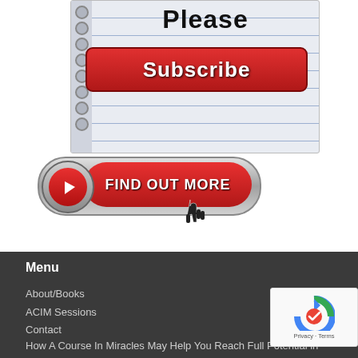[Figure (illustration): Please Subscribe notebook image with a red Subscribe button, and a red Find Out More button with play icon and cursor icon below]
Menu
About/Books
ACIM Sessions
Contact
How A Course In Miracles May Help You Reach Full Potential in